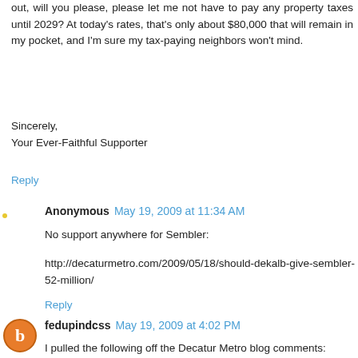out, will you please, please let me not have to pay any property taxes until 2029? At today's rates, that's only about $80,000 that will remain in my pocket, and I'm sure my tax-paying neighbors won't mind.
Sincerely,
Your Ever-Faithful Supporter
Reply
Anonymous  May 19, 2009 at 11:34 AM
No support anywhere for Sembler:
http://decaturmetro.com/2009/05/18/should-dekalb-give-sembler-52-million/
Reply
fedupindcss  May 19, 2009 at 4:02 PM
I pulled the following off the Decatur Metro blog comments: